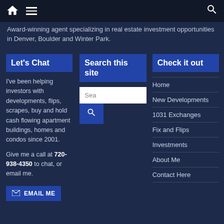Navigation bar with home icon, menu icon, and search icon
Award-winning agent specializing in real estate investment opportunities in Denver, Boulder and Winter Park.
Let's Chat
I've been helping investors with developments, flips, scrapes, buy and hold cash flowing apartment buildings, homes and condos since 2001.

Give me a call at 720-938-4350 to chat, or email me.
Search this site
Search input box with search button
Check it out
Home
New Developments
1031 Exchanges
Fix and Flips
Investments
About Me
Contact Here